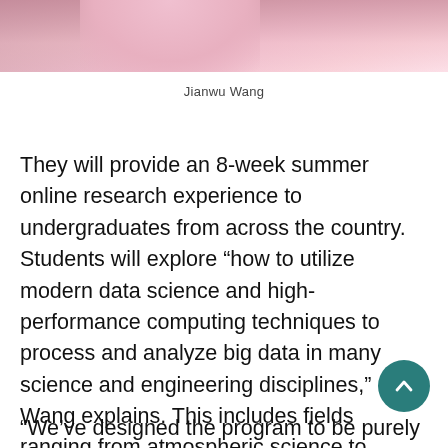[Figure (photo): Photo of Jianwu Wang wearing a pink shirt, cropped to show upper body/shoulder area at top of page]
Jianwu Wang
They will provide an 8-week summer online research experience to undergraduates from across the country. Students will explore “how to utilize modern data science and high-performance computing techniques to process and analyze big data in many science and engineering disciplines,” Wang explains. This includes fields ranging from atmospheric science to mechanical engineering to medicine.
“We’ve designed the program to be purely online